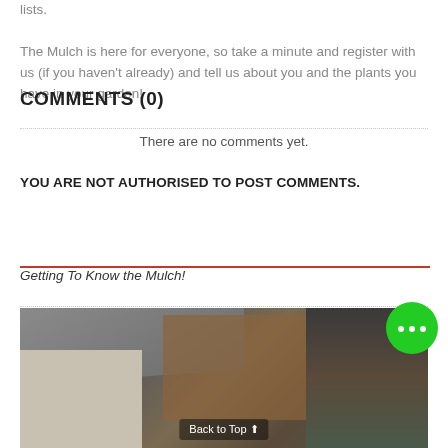lists.
The Mulch is here for everyone, so take a minute and register with us (if you haven't already) and tell us about you and the plants you have in your garden!
COMMENTS (0)
There are no comments yet.
YOU ARE NOT AUTHORISED TO POST COMMENTS.
Getting To Know the Mulch!
[Figure (photo): A garden centre or nursery exterior showing shelving structures with plants and garden supplies, a building with a dark roof on the left, and lush greenery on the right. A 'Back to Top' button overlay is visible at the bottom.]